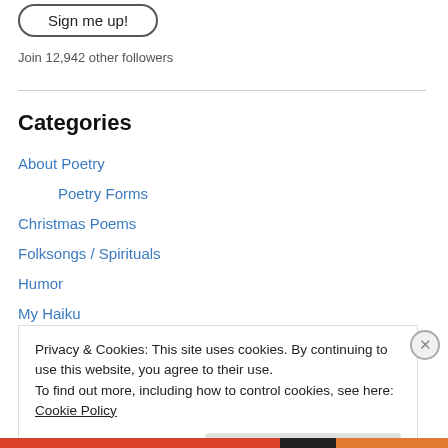[Figure (other): Sign me up! button with rounded border]
Join 12,942 other followers
Categories
About Poetry
Poetry Forms
Christmas Poems
Folksongs / Spirituals
Humor
My Haiku
My Poems
Privacy & Cookies: This site uses cookies. By continuing to use this website, you agree to their use. To find out more, including how to control cookies, see here: Cookie Policy